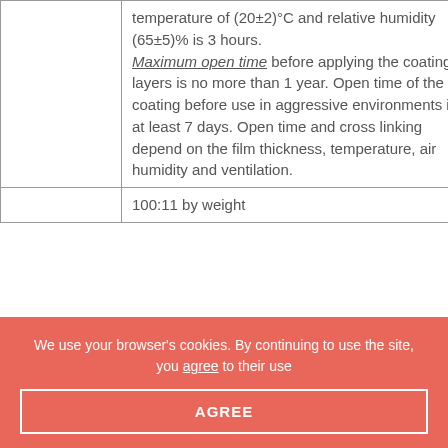|  | temperature of (20±2)°C and relative humidity (65±5)% is 3 hours. Maximum open time before applying the coating layers is no more than 1 year. Open time of the coating before use in aggressive environments is at least 7 days. Open time and cross linking depend on the film thickness, temperature, air humidity and ventilation. |
|  | 100:11 by weight |
We use your browser's cookies. By continuing to use the site, you agree to their use
AGREE